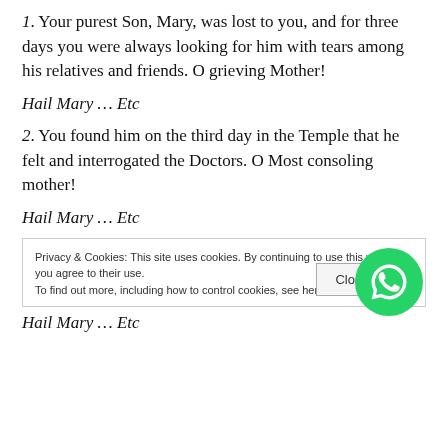1. Your purest Son, Mary, was lost to you, and for three days you were always looking for him with tears among his relatives and friends. O grieving Mother!
Hail Mary … Etc
2. You found him on the third day in the Temple that he felt and interrogated the Doctors. O Most consoling mother!
Hail Mary … Etc
Privacy & Cookies: This site uses cookies. By continuing to use this website, you agree to their use. To find out more, including how to control cookies, see here: Coo[kie Policy]
Hail Mary … Etc